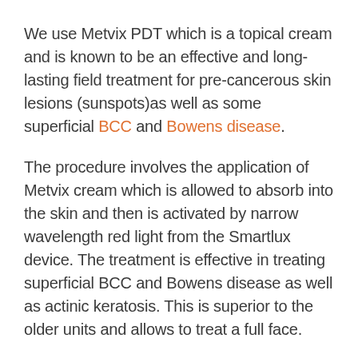We use Metvix PDT which is a topical cream and is known to be an effective and long-lasting field treatment for pre-cancerous skin lesions (sunspots)as well as some superficial BCC and Bowens disease.
The procedure involves the application of Metvix cream which is allowed to absorb into the skin and then is activated by narrow wavelength red light from the Smartlux device. The treatment is effective in treating superficial BCC and Bowens disease as well as actinic keratosis. This is superior to the older units and allows to treat a full face.
We can also use Metvix activated by daylight for the treatment of solar keratosis as a full face treatment. Our “Smartlux” LED light therapy is versatile and can